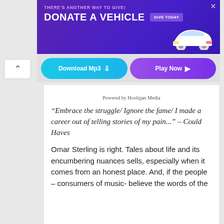[Figure (screenshot): Advertisement banner: purple background with 'THERE'S ANOTHER WAY TO GIVE! DONATE A VEHICLE GIVE TODAY' text and a white car image]
[Figure (screenshot): Button row with 'Download Mp3' (teal) and 'Play Now' (purple) buttons, with a back arrow button on the left]
Powered by Hooligan Media
“Embrace the struggle/ Ignore the fame/ I made a career out of telling stories of my pain...” – Could Haves
Omar Sterling is right. Tales about life and its encumbering nuances sells, especially when it comes from an honest place. And, if the people – consumers of music- believe the words of the